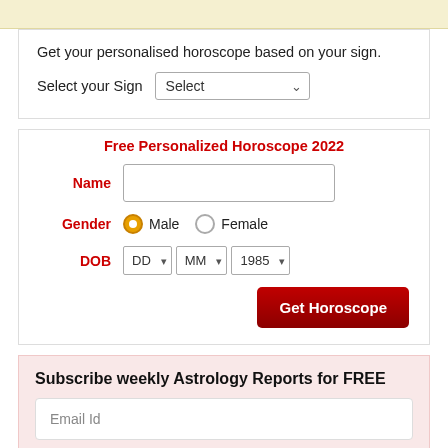Get your personalised horoscope based on your sign.
Select your Sign  [Select dropdown]
Free Personalized Horoscope 2022
Name [text input]
Gender  Male  Female
DOB  DD  MM  1985
Get Horoscope [button]
Subscribe weekly Astrology Reports for FREE
Email Id [input field]
Submit [button]